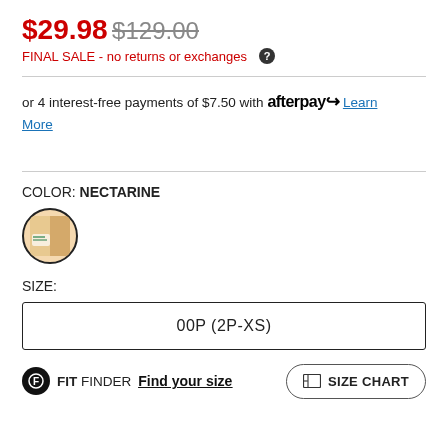$29.98  $129.00
FINAL SALE - no returns or exchanges
or 4 interest-free payments of $7.50 with afterpay  Learn More
COLOR: NECTARINE
[Figure (illustration): Color swatch circle for Nectarine color, selected state with dark border]
SIZE:
00P (2P-XS)
FIT FINDER  Find your size
SIZE CHART